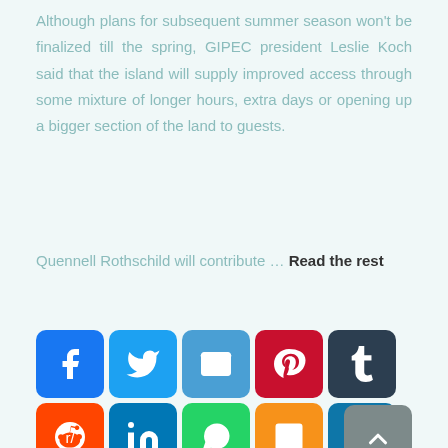Although plans for subsequent summer season won't be finalized till the spring, GIPEC president Leslie Koch said that the island will supply improved access through some mixture of longer hours, extra days or opening up a bigger section of the land to guests.
Quennell Rothschild will contribute … Read the rest
[Figure (infographic): Social media sharing icons row: Facebook, Twitter, Email, Pinterest, Tumblr, Reddit, LinkedIn, WhatsApp, Blogger, Copy Link, Plus button. Also a scroll-to-top button.]